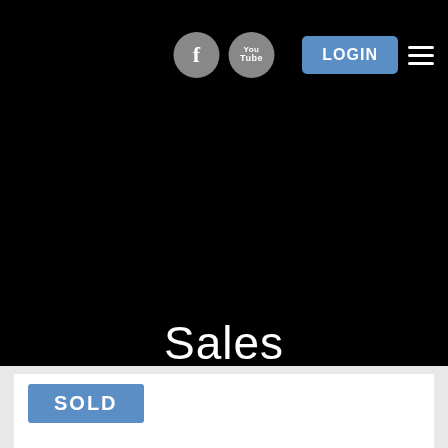[Figure (screenshot): Website navigation bar with Facebook and YouTube social icons (gray circles), a blue LOGIN button, and a hamburger menu icon on a black background]
Sales
[Figure (screenshot): White card area with a blue SOLD badge/label in the upper left]